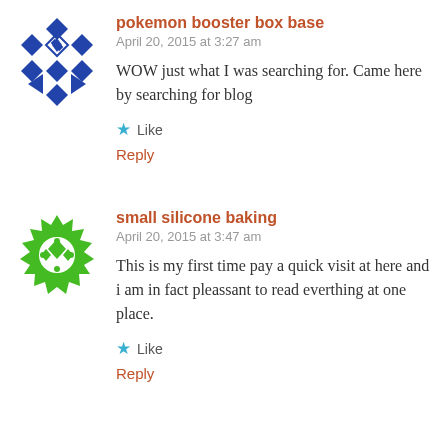[Figure (illustration): Blue geometric diamond/snowflake pattern avatar for 'pokemon booster box base']
pokemon booster box base
April 20, 2015 at 3:27 am
WOW just what I was searching for. Came here by searching for blog
Like
Reply
[Figure (illustration): Green geometric snowflake/mandala pattern avatar for 'small silicone baking']
small silicone baking
April 20, 2015 at 3:47 am
This is my first time pay a quick visit at here and i am in fact pleassant to read everthing at one place.
Like
Reply